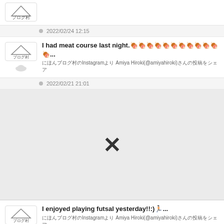[Figure (logo): ブログ村 logo with mountain icon, timestamp 2022/02/24 12:15]
2022/02/24 12:15
I had meat course last night.🍖🍖🍖🍖🍖🍖🍖🍖🍖🍖🍖🍖...
にほんブログ村のInstagramより Amiya Hiroki(@amiyahiroki)さんの投稿をシェア
2022/02/21 21:01
[Figure (photo): Large light gray image placeholder area with an X mark indicating broken/missing image]
I enjoyed playing futsal yesterday!!:)🏃🏻...
にほんブログ村のInstagramより Amiya Hiroki(@amiyahiroki)さんの投稿をシェア